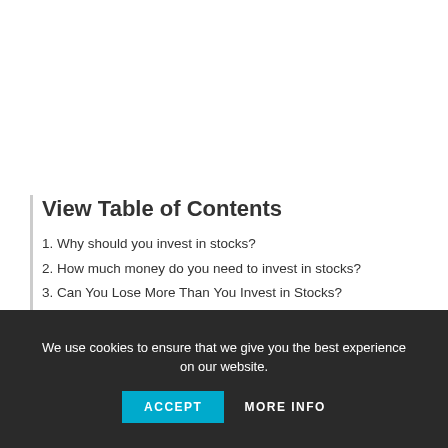View Table of Contents
1. Why should you invest in stocks?
2. How much money do you need to invest in stocks?
3. Can You Lose More Than You Invest in Stocks?
4. Here are some reasons why you should invest in stock markets
4.1. You can start with a small amount
4.2. Liquidity
4.3. You get a stake in a profitable business.
We use cookies to ensure that we give you the best experience on our website.
ACCEPT   MORE INFO